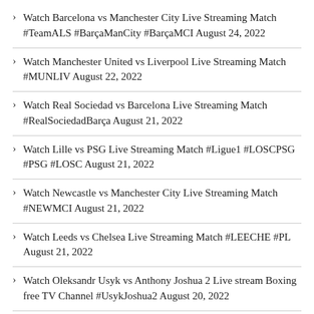Watch Barcelona vs Manchester City Live Streaming Match #TeamALS #BarçaManCity #BarçaMCI August 24, 2022
Watch Manchester United vs Liverpool Live Streaming Match #MUNLIV August 22, 2022
Watch Real Sociedad vs Barcelona Live Streaming Match #RealSociedadBarça August 21, 2022
Watch Lille vs PSG Live Streaming Match #Ligue1 #LOSCPSG #PSG #LOSC August 21, 2022
Watch Newcastle vs Manchester City Live Streaming Match #NEWMCI August 21, 2022
Watch Leeds vs Chelsea Live Streaming Match #LEECHE #PL August 21, 2022
Watch Oleksandr Usyk vs Anthony Joshua 2 Live stream Boxing free TV Channel #UsykJoshua2 August 20, 2022